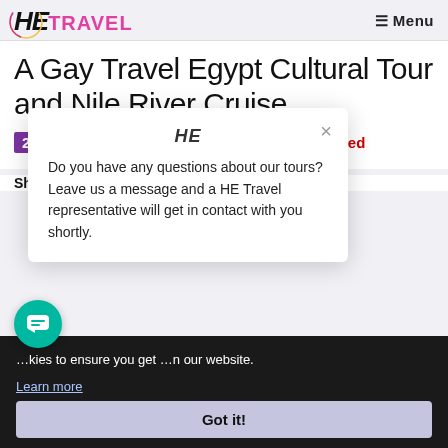HE TRAVEL  ☰ Menu
A Gay Travel Egypt Cultural Tour and Nile River Cruise
2022 November 19 to 30 – 1 cabin just opened
[Figure (screenshot): Popup dialog with HE logo and text: Do you have any questions about our tours? Leave us a message and a HE Travel representative will get in contact with you shortly. With a close (×) button.]
…kies to ensure you get …n our website.
Share…
Learn more
Got it!
Deposit: $1000